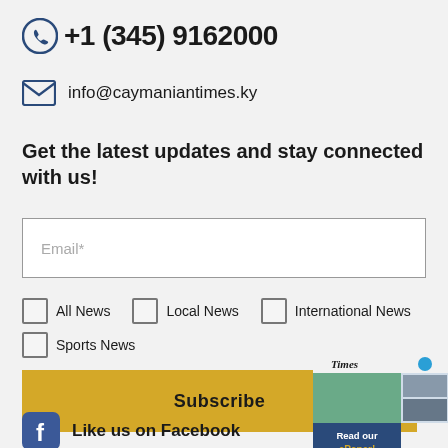+1 (345) 9162000
info@caymaniantimes.ky
Get the latest updates and stay connected with us!
Email*
All News
Local News
International News
Sports News
Subscribe
[Figure (screenshot): Caymanian Times ePaper thumbnail with 'Read our ePaper!' button]
Like us on Facebook